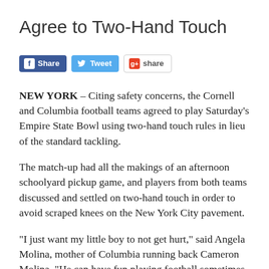Agree to Two-Hand Touch
[Figure (other): Social sharing buttons: Facebook Share, Twitter Tweet, Google+ share]
NEW YORK – Citing safety concerns, the Cornell and Columbia football teams agreed to play Saturday's Empire State Bowl using two-hand touch rules in lieu of the standard tackling.
The match-up had all the makings of an afternoon schoolyard pickup game, and players from both teams discussed and settled on two-hand touch in order to avoid scraped knees on the New York City pavement.
“I just want my little boy to not get hurt,” said Angela Molina, mother of Columbia running back Cameron Molina, “He can have fun playing football sometimes, but